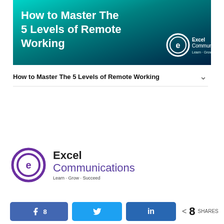[Figure (illustration): Banner image with teal-to-dark-blue gradient background showing title text 'How to Master The 5 Levels of Remote Working' in white bold font, with Excel Communications logo (circle-e icon) in bottom right corner with tagline 'Learn · Grow · Succeed']
How to Master The 5 Levels of Remote Working
[Figure (logo): Excel Communications logo: purple circle with stylized 'e', company name 'Excel Communications' and tagline 'Learn · Grow · Succeed']
8  SHARES (social share buttons: Facebook 8, Twitter, LinkedIn)